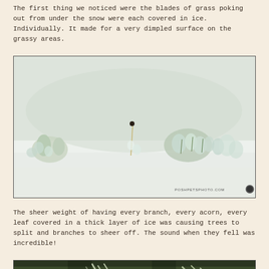The first thing we noticed were the blades of grass poking out from under the snow were each covered in ice. Individually. It made for a very dimpled surface on the grassy areas.
[Figure (photo): Close-up photograph of ice-encased blades of grass poking through snow, creating a dimpled, crystalline surface. Ice globules encase each grass blade. Watermark: POSHPETSPHOTO.COM]
The sheer weight of having every branch, every acorn, every leaf covered in a thick layer of ice was causing trees to split and branches to sheer off. The sound when they fell was incredible!
[Figure (photo): Close-up photograph of pine needles and branches heavily encased in thick, dripping ice, showing the weight and density of ice accumulation on evergreen branches.]